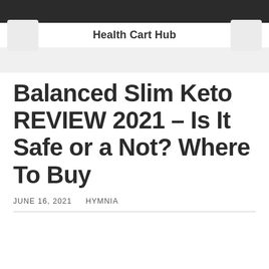Health Cart Hub
Balanced Slim Keto REVIEW 2021 – Is It Safe or a Not? Where To Buy
JUNE 16, 2021   HYMNIA